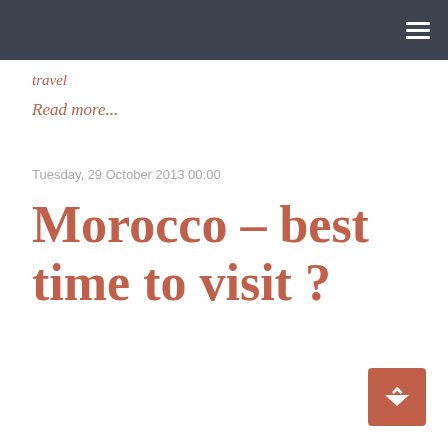≡
travel
Read more...
Tuesday, 29 October 2013 00:00
Morocco – best time to visit ?